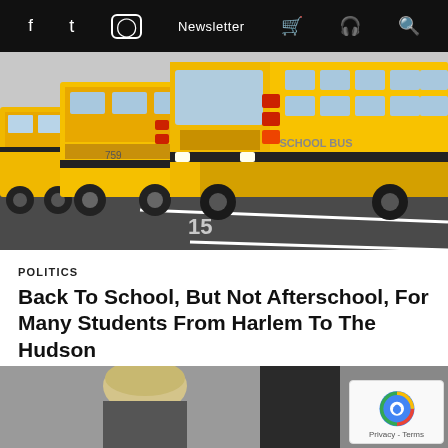f  twitter  instagram  Newsletter  cart  podcast  search
[Figure (photo): Multiple yellow school buses parked in a lot, shot from low angle showing fronts and sides of buses]
POLITICS
Back To School, But Not Afterschool, For Many Students From Harlem To The Hudson
[Figure (photo): Partial photo of a person with light-colored hair standing in a doorway or dark background, cropped at bottom of page]